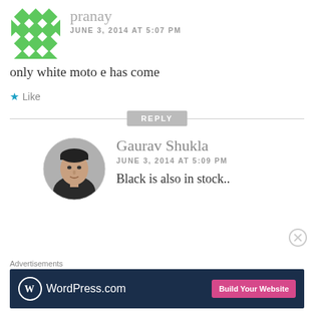[Figure (illustration): Green geometric/mosaic avatar for user pranay]
pranay
JUNE 3, 2014 AT 5:07 PM
only white moto e has come
Like
REPLY
[Figure (photo): Circular profile photo of Gaurav Shukla, a man in dark shirt]
Gaurav Shukla
JUNE 3, 2014 AT 5:09 PM
Black is also in stock..
Advertisements
[Figure (screenshot): WordPress.com advertisement banner with Build Your Website button]